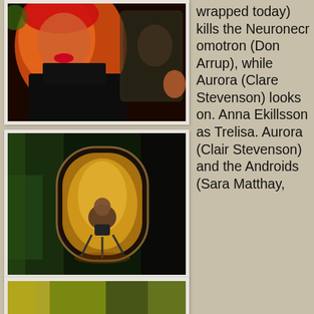[Figure (photo): Film still showing a woman with red hair and red lips wearing a dark outfit, with another figure visible in background through a transparent panel, in warm orange-red lighting]
[Figure (photo): Film still showing a person crouching with equipment inside an oval/rounded-rectangular doorway or portal, with warm yellow-orange light emanating from behind, set against a dark green background]
[Figure (photo): Film still showing a partial view of a scene with green and yellow-brown tones, bottom portion of page]
wrapped today) kills the Neuroneromotron (Don Arrup), while Aurora (Clare Stevenson) looks on. Anna Ekillsson as Trelisa. Aurora (Clair Stevenson) and the Androids (Sara Matthay,